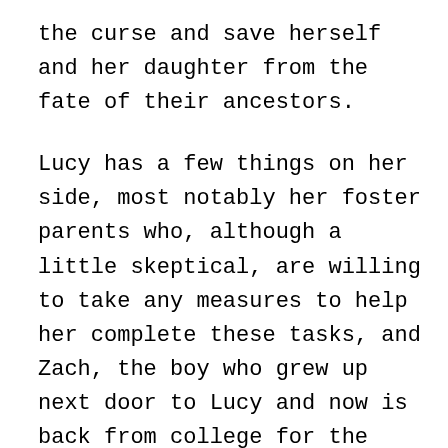the curse and save herself and her daughter from the fate of their ancestors.
Lucy has a few things on her side, most notably her foster parents who, although a little skeptical, are willing to take any measures to help her complete these tasks, and Zach, the boy who grew up next door to Lucy and now is back from college for the summer and ready to give any assistance Lucy will let him offer.
Lucy is extremely likable and reacts much how I think many people would to such discoveries. On the one hand, her practical side is screaming how insane this whole thing is and that the best course